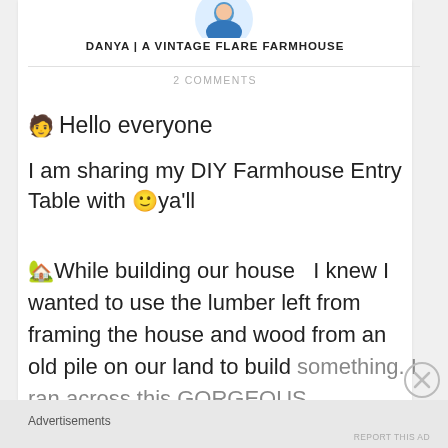[Figure (photo): Circular avatar photo of a person at the top of the page]
DANYA | A VINTAGE FLARE FARMHOUSE
2 COMMENTS
🧑 Hello everyone
I am sharing my DIY Farmhouse Entry Table with 🙂 ya'll
🏡While building our house  I knew I wanted to use the lumber left from framing the house and wood from an old pile on our land to build something. I ran across this GORGEOUS
Advertisements
REPORT THIS AD